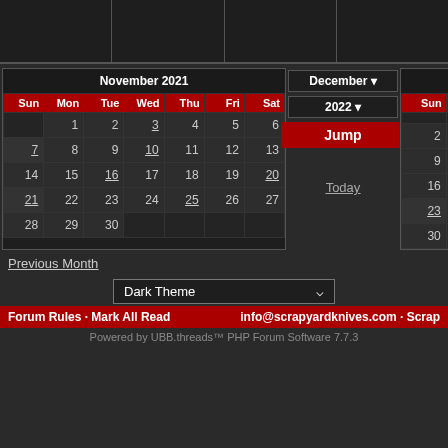[Figure (screenshot): Top navigation bar with dark grey cells]
| Sun | Mon | Tue | Wed | Thu | Fri | Sat |
| --- | --- | --- | --- | --- | --- | --- |
|  | 1 | 2 | 3 | 4 | 5 | 6 |
| 7 | 8 | 9 | 10 | 11 | 12 | 13 |
| 14 | 15 | 16 | 17 | 18 | 19 | 20 |
| 21 | 22 | 23 | 24 | 25 | 26 | 27 |
| 28 | 29 | 30 |  |  |  |  |
| Sun | Mon | Tue |
| --- | --- | --- |
|  |  |  |
| 2 | 3 | 4 |
| 9 | 10 | 11 |
| 16 | 17 | 18 |
| 23 | 24 | 25 |
| 30 | 31 |  |
December 2022 Jump Today
Previous Month
Dark Theme
Forum Rules · Mark All Read    info@scrapyardknives.com · Scrap
Powered by UBB.threads™ PHP Forum Software 7.7.3